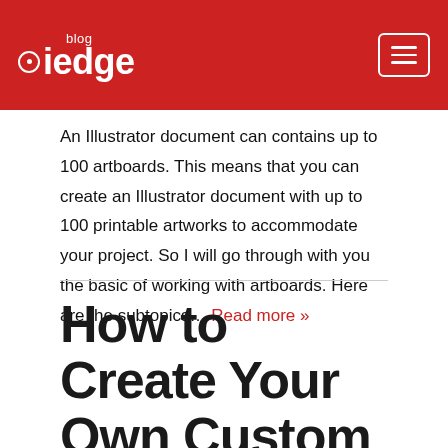iedge blog
An Illustrator document can contains up to 100 artboards. This means that you can create an Illustrator document with up to 100 printable artworks to accommodate your project. So I will go through with you the basic of working with artboards. Here are the subtopics… Read more »
How to Create Your Own Custom Art Brush in Illustrator